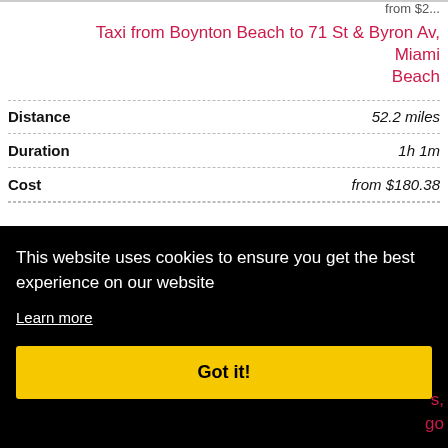Taxi from Boynton Beach to 71 St & Byron Av, Miami Beach
|  |  |
| --- | --- |
| Distance | 52.2 miles |
| Duration | 1h 1m |
| Cost | from $180.38 |
This website uses cookies to ensure you get the best experience on our website
Learn more
Got it!